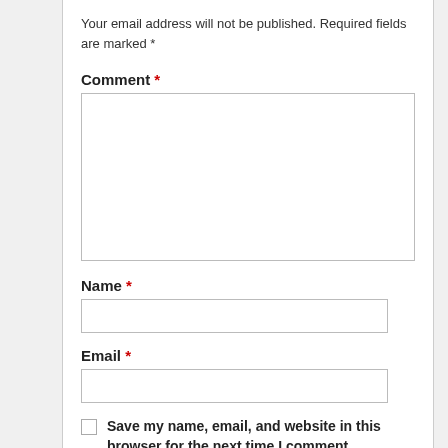Your email address will not be published. Required fields are marked *
Comment *
Name *
Email *
Save my name, email, and website in this browser for the next time I comment.